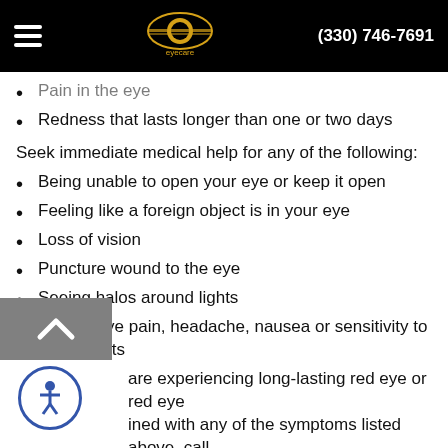(330) 746-7691
Pain in the eye
Redness that lasts longer than one or two days
Seek immediate medical help for any of the following:
Being unable to open your eye or keep it open
Feeling like a foreign object is in your eye
Loss of vision
Puncture wound to the eye
Seeing halos around lights
Severe eye pain, headache, nausea or sensitivity to bright lights
are experiencing long-lasting red eye or red eye ined with any of the symptoms listed above, call us today to schedule an appointment, so we can s your eye health and provide any necessary treatment options.